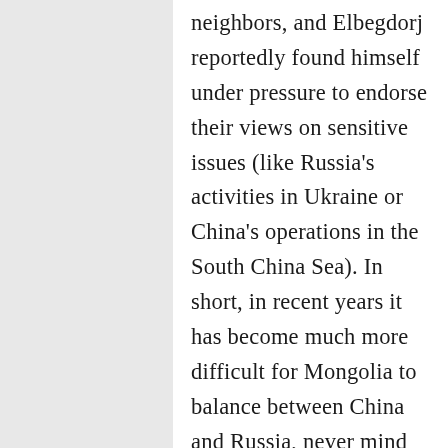neighbors, and Elbegdorj reportedly found himself under pressure to endorse their views on sensitive issues (like Russia's activities in Ukraine or China's operations in the South China Sea). In short, in recent years it has become much more difficult for Mongolia to balance between China and Russia, never mind offsetting some other